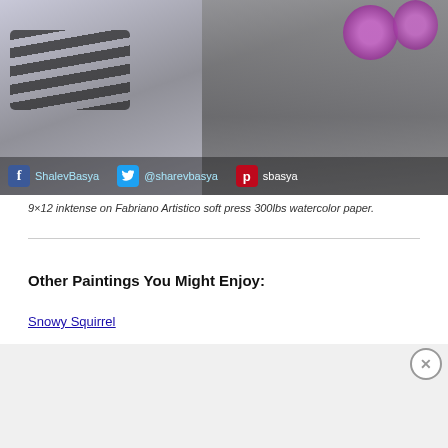[Figure (photo): Artwork photo of a painting (piano keys with purple flowers/roses) with social media handles overlaid at the bottom: Facebook ShalevBasya, Twitter @sharevbasya, Pinterest sbasya]
9×12 inktense on Fabriano Artistico soft press 300lbs watercolor paper.
Other Paintings You Might Enjoy:
Snowy Squirrel
[Figure (screenshot): DuckDuckGo advertisement banner: 'Search, browse, and email with more privacy. All in One Free App' with phone graphic showing DuckDuckGo logo]